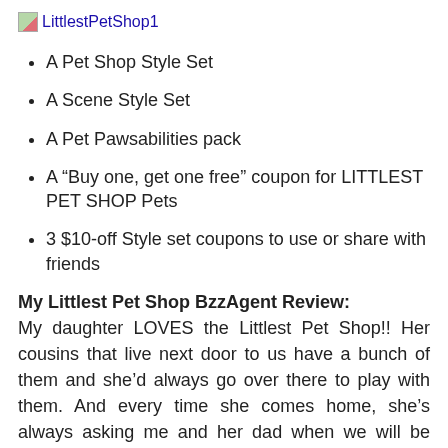[Figure (photo): Broken image placeholder labeled LittlestPetShop1]
A Pet Shop Style Set
A Scene Style Set
A Pet Pawsabilities pack
A “Buy one, get one free” coupon for LITTLEST PET SHOP Pets
3 $10-off Style set coupons to use or share with friends
My Littlest Pet Shop BzzAgent Review:
My daughter LOVES the Littlest Pet Shop!! Her cousins that live next door to us have a bunch of them and she’d always go over there to play with them. And every time she comes home, she’s always asking me and her dad when we will be able to get her some. So when I got the